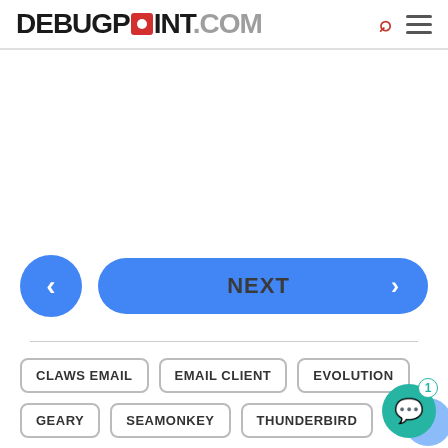[Figure (logo): DEBUGPOINT.COM logo with red square replacing the letter O in POINT, followed by search and hamburger menu icons]
[Figure (other): Blank white content/advertisement area]
[Figure (other): Navigation buttons: a blue circular back button with left chevron, and a wide blue NEXT button with right chevron]
CLAWS EMAIL
EMAIL CLIENT
EVOLUTION
GEARY
SEAMONKEY
THUNDERBIRD